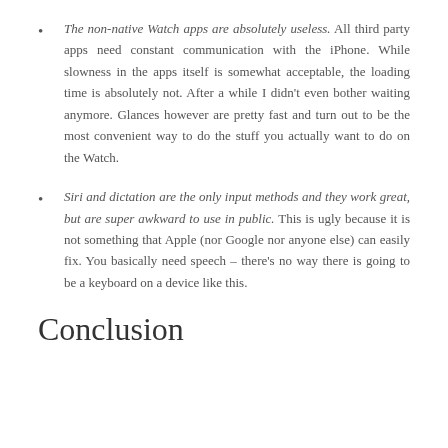The non-native Watch apps are absolutely useless. All third party apps need constant communication with the iPhone. While slowness in the apps itself is somewhat acceptable, the loading time is absolutely not. After a while I didn't even bother waiting anymore. Glances however are pretty fast and turn out to be the most convenient way to do the stuff you actually want to do on the Watch.
Siri and dictation are the only input methods and they work great, but are super awkward to use in public. This is ugly because it is not something that Apple (nor Google nor anyone else) can easily fix. You basically need speech – there's no way there is going to be a keyboard on a device like this.
Conclusion